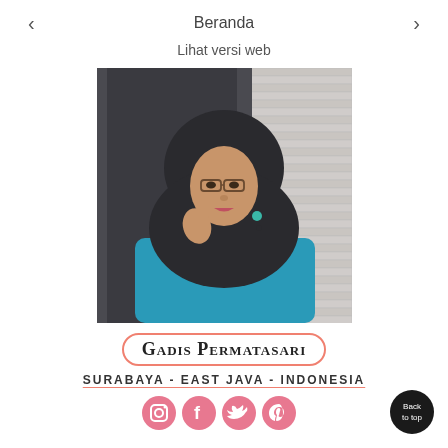< Beranda >
Lihat versi web
[Figure (photo): Portrait photo of a young woman wearing a black hijab, glasses, teal earrings, and a blue top, posing in front of a brick wall]
Gadis Permatasari
SURABAYA - EAST JAVA - INDONESIA
[Figure (infographic): Social media icons: Instagram, Facebook, Twitter, Pinterest]